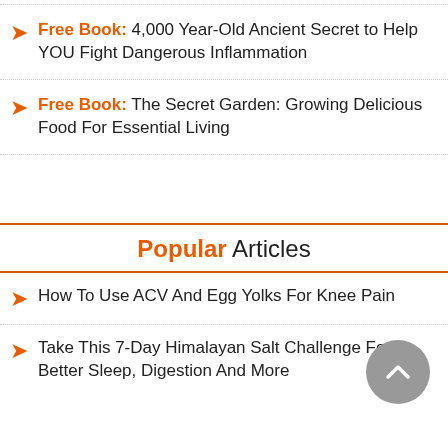Free Book: 4,000 Year-Old Ancient Secret to Help YOU Fight Dangerous Inflammation
Free Book: The Secret Garden: Growing Delicious Food For Essential Living
Popular Articles
How To Use ACV And Egg Yolks For Knee Pain
Take This 7-Day Himalayan Salt Challenge For Better Sleep, Digestion And More